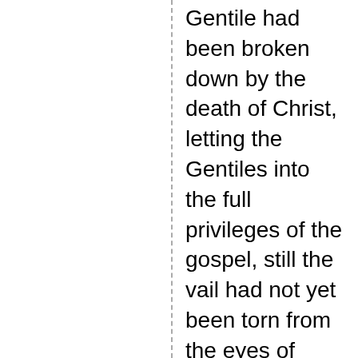Gentile had been broken down by the death of Christ, letting the Gentiles into the full privileges of the gospel, still the vail had not yet been torn from the eyes of many of the believing Jews, and they could not clearly discern to the end of that which was abolished by the Son of God. The work was now to be prosecuted with vigor among the Gentiles, and was to result in strengthening the church by a great ingathering of souls. {LP 42.2}
The apostles, in this their special work, were to be